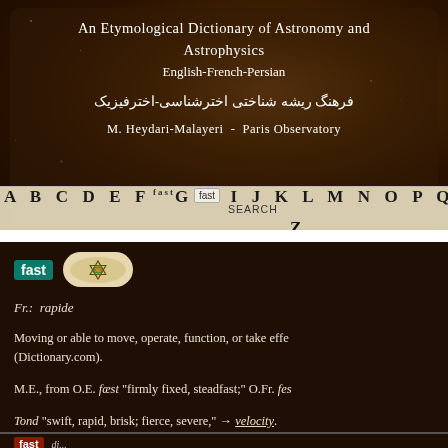An Etymological Dictionary of Astronomy and Astrophysics
English-French-Persian
فرهنگ ریشه شناختی اخترشناسی-اخترفیزیک
M. Heydari-Malayeri  -  Paris Observatory
A B C D E F G H I J K L M N O P Q R ... Z  SEARCH
fast
Fr.: rapide
Moving or able to move, operate, function, or take effe... (Dictionary.com).
M.E., from O.E. fæst "firmly fixed, steadfast;" O.Fr. fes...
Tond "swift, rapid, brisk; fierce, severe," → velocity.